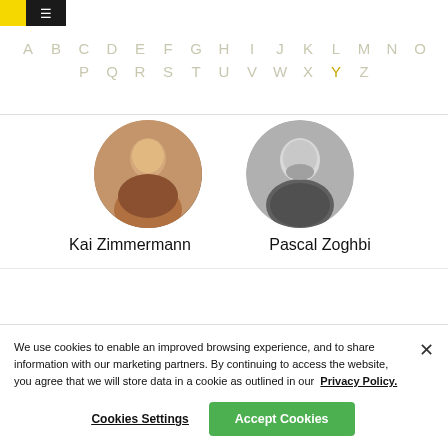☰ (navigation logo/hamburger menu)
A B C D E F G H I J K L M N O P Q R S T U V W X Y Z
[Figure (photo): Circular avatar photo of Kai Zimmermann - color photo]
Kai Zimmermann
[Figure (photo): Circular avatar photo of Pascal Zoghbi - black and white photo]
Pascal Zoghbi
We use cookies to enable an improved browsing experience, and to share information with our marketing partners. By continuing to access the website, you agree that we will store data in a cookie as outlined in our Privacy Policy.
Cookies Settings
Accept Cookies